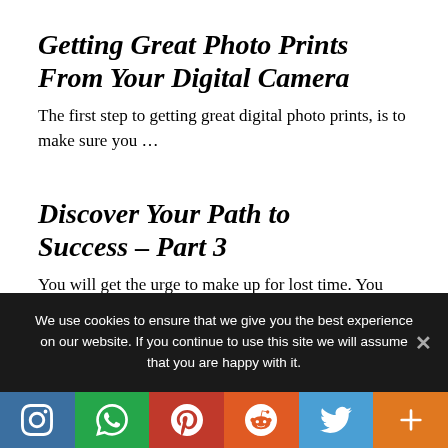Getting Great Photo Prints From Your Digital Camera
The first step to getting great digital photo prints, is to make sure you ...
Discover Your Path to Success – Part 3
You will get the urge to make up for lost time. You now want ...
We use cookies to ensure that we give you the best experience on our website. If you continue to use this site we will assume that you are happy with it.